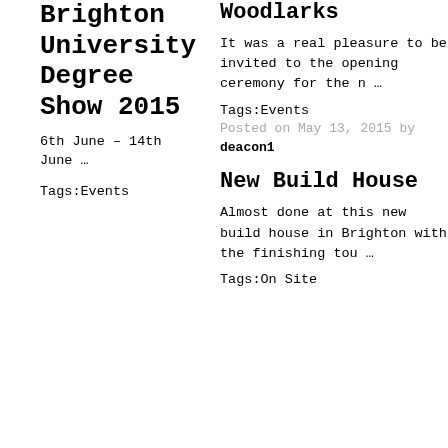Brighton University Degree Show 2015
6th June – 14th June …
Tags:Events
Woodlarks
It was a real pleasure to be invited to the opening ceremony for the n …
Tags:Events
Posted on May 13, 2015 by deacon1
New Build House
Almost done at this new build house in Brighton with the finishing tou …
Tags:On Site